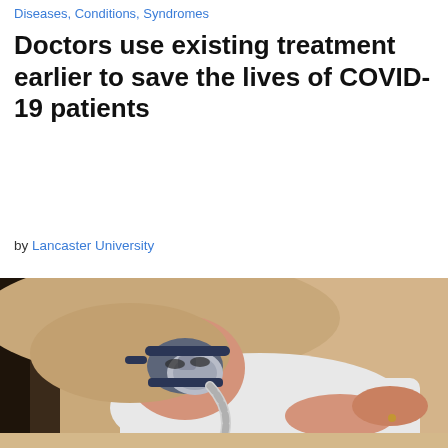Diseases, Conditions, Syndromes
Doctors use existing treatment earlier to save the lives of COVID-19 patients
by Lancaster University
[Figure (photo): A man lying on a couch wearing a CPAP breathing mask with straps around his head, dressed in a white t-shirt, resting against beige/tan pillows]